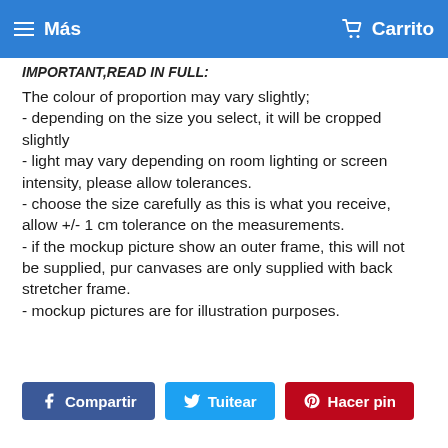≡ Más   🛒 Carrito
IMPORTANT,READ IN FULL:
The colour of proportion may vary slightly;
- depending on the size you select, it will be cropped slightly
- light may vary depending on room lighting or screen intensity, please allow tolerances.
- choose the size carefully as this is what you receive, allow +/- 1 cm tolerance on the measurements.
- if the mockup picture show an outer frame, this will not be supplied, pur canvases are only supplied with back stretcher frame.
- mockup pictures are for illustration purposes.
Compartir   Tuitear   Hacer pin